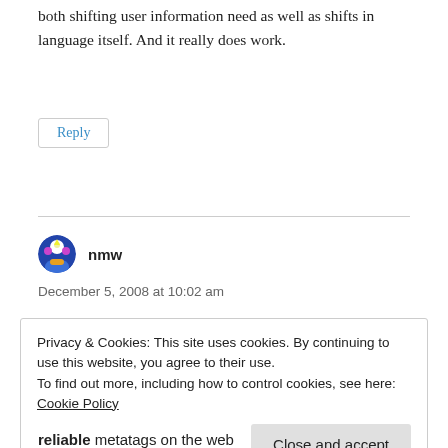both shifting user information need as well as shifts in language itself. And it really does work.
Reply
nmw
December 5, 2008 at 10:02 am
Privacy & Cookies: This site uses cookies. By continuing to use this website, you agree to their use.
To find out more, including how to control cookies, see here: Cookie Policy
Close and accept
reliable metatags on the web